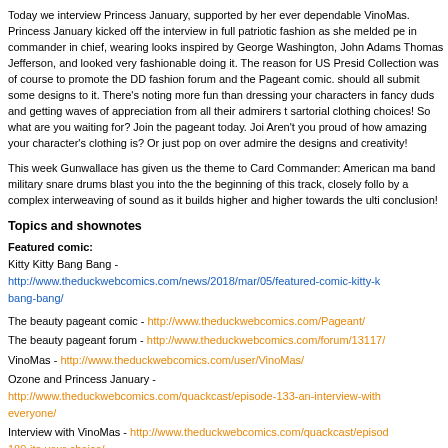Today we interview Princess January, supported by her ever dependable VinoMas. Princess January kicked off the interview in full patriotic fashion as she melded pen in commander in chief, wearing looks inspired by George Washington, John Adams, Thomas Jefferson, and looked very fashionable doing it. The reason for US Preside Collection was of course to promote the DD fashion forum and the Pageant comic. should all submit some designs to it. There's noting more fun than dressing your characters in fancy duds and getting waves of appreciation from all their admirers t sartorial clothing choices! So what are you waiting for? Join the pageant today. Jo Aren't you proud of how amazing your character's clothing is? Or just pop on over admire the designs and creativity!
This week Gunwallace has given us the theme to Card Commander: American ma band military snare drums blast you into the the beginning of this track, closely foll by a complex interweaving of sound as it builds higher and higher towards the ulti conclusion!
Topics and shownotes
Featured comic: Kitty Kitty Bang Bang - http://www.theduckwebcomics.com/news/2018/mar/05/featured-comic-kitty-k bang-bang/
The beauty pageant comic - http://www.theduckwebcomics.com/Pageant/
The beauty pageant forum - http://www.theduckwebcomics.com/forum/13117/
VinoMas - http://www.theduckwebcomics.com/user/VinoMas/
Ozone and Princess January - http://www.theduckwebcomics.com/quackcast/episode-133-an-interview-with-everyone/
Interview with VinoMas - http://www.theduckwebcomics.com/quackcast/episode-189-its-your-choice/
Special thanks to:
Gunwallace - http://www.virtuallycomics.com
PitFace - http://www.theduckwebcomics.com/user/PIT_FACE/
Tantz Aerine - http://www.theduckwebcomics.com/user/Tantz_Aerine/
Banes - http://www.theduckwebcomics.com/user/Banes/